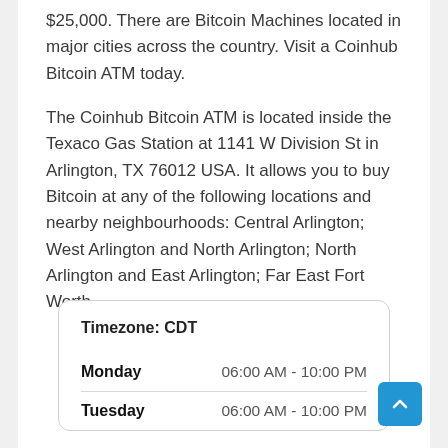$25,000. There are Bitcoin Machines located in major cities across the country. Visit a Coinhub Bitcoin ATM today.
The Coinhub Bitcoin ATM is located inside the Texaco Gas Station at 1141 W Division St in Arlington, TX 76012 USA. It allows you to buy Bitcoin at any of the following locations and nearby neighbourhoods: Central Arlington; West Arlington and North Arlington; North Arlington and East Arlington; Far East Fort Worth.
|  |  |
| --- | --- |
| Timezone: CDT |  |
| Monday | 06:00 AM - 10:00 PM |
| Tuesday | 06:00 AM - 10:00 PM |